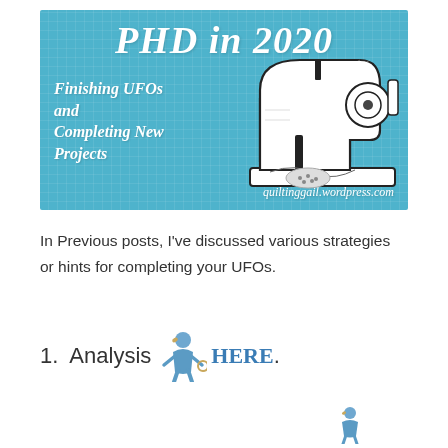[Figure (illustration): Banner image with teal woven/crosshatch background showing 'PHD in 2020' as main title in italic white text, subtitle 'Finishing UFOs and Completing New Projects' in italic white text on the left, an illustration of a vintage sewing machine on the right, and the URL quiltinggail.wordpress.com at the bottom right.]
In Previous posts, I've discussed various strategies or hints for completing your UFOs.
1.  Analysis  HERE.